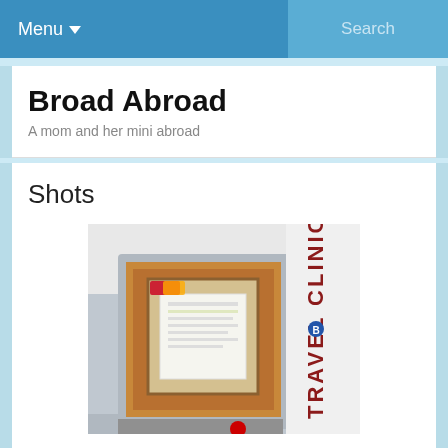Menu  Search
Broad Abroad
A mom and her mini abroad
Shots
[Figure (photo): Photo of a Travel Clinic entrance sign on a wall with a wooden bulletin board]
Immunizations are complete. I thought I would be spending about $1000. I don't currently have insurance but I found out most of the immunizations we needed aren't covered by insurance anyways… We